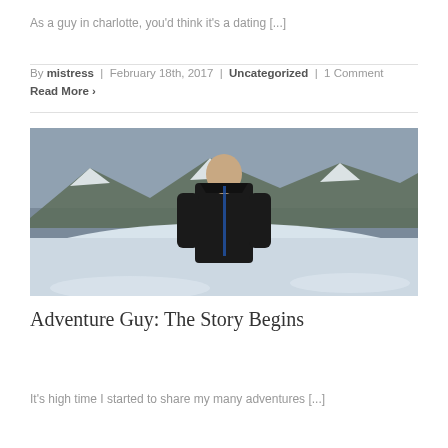As a guy in charlotte, you'd think it's a dating [...]
By mistress | February 18th, 2017 | Uncategorized | 1 Comment
Read More >
[Figure (photo): A man in a black zip-up jacket standing in a snowy winter landscape with mountains and cloudy sky in the background.]
Adventure Guy: The Story Begins
It's high time I started to share my many adventures [...]